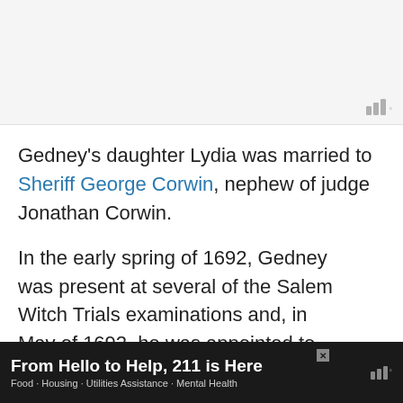Gedney's daughter Lydia was married to Sheriff George Corwin, nephew of judge Jonathan Corwin.
In the early spring of 1692, Gedney was present at several of the Salem Witch Trials examinations and, in May of 1692, he was appointed to the Court of Oyer and Terminer, which he served on until it was dissolved in October of 1692.
From Hello to Help, 211 is Here — Food · Housing · Utilities Assistance · Mental Health